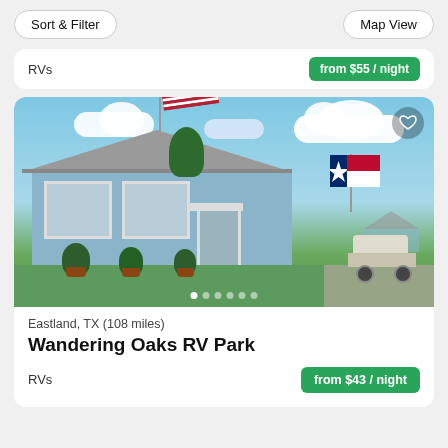Sort & Filter   Map View
RVs
from $55 / night
[Figure (photo): Photo of Wandering Oaks RV Park office building - a light blue building with American and Texas flags, flowers in pots, and a golf cart nearby. Blue sky with clouds in background.]
Eastland, TX (108 miles)
Wandering Oaks RV Park
RVs
from $43 / night